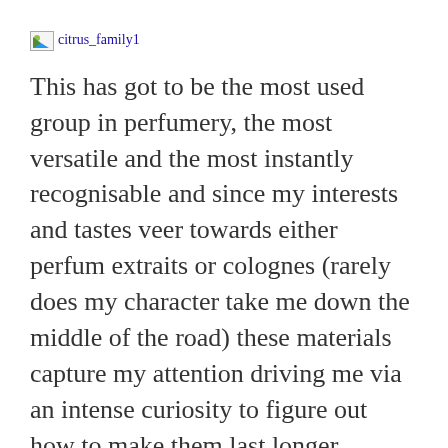[Figure (illustration): Broken image placeholder labeled 'citrus_family1' shown as a hyperlink with a small broken image icon]
This has got to be the most used group in perfumery, the most versatile and the most instantly recognisable and since my interests and tastes veer towards either perfum extraits or colognes (rarely does my character take me down the middle of the road) these materials capture my attention driving me via an intense curiosity to figure out how to make them last longer.
Privacy & Cookies: This site uses cookies. By continuing to use this website, you agree to their use.
To find out more, including how to control cookies, see here: Cookie Policy
[Close and accept button]
for me and of course it became the willing model for